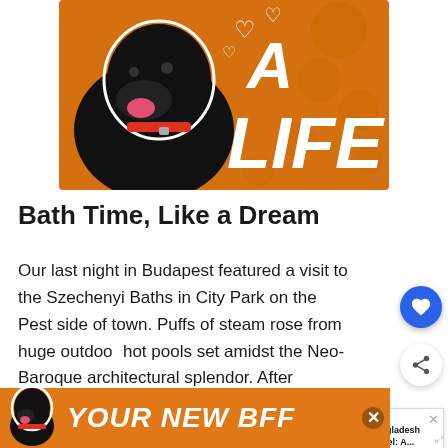[Figure (illustration): Orange banner advertisement showing a black Labrador dog on the left with white hearts and bold italic text reading 'A LIFE' on orange background with paw print pattern]
Bath Time, Like a Dream
Our last night in Budapest featured a visit to the Szechenyi Baths in City Park on the Pest side of town. Puffs of steam rose from huge outdoor hot pools set amidst the Neo-Baroque architectural splendor. After sampling a chokingly hot dry sauna and various...
[Figure (infographic): WHAT'S NEXT panel showing Bangladesh Travel article thumbnail]
[Figure (illustration): Bottom orange banner advertisement showing black dog silhouette and bold italic text reading 'YOUR NEW BFF']